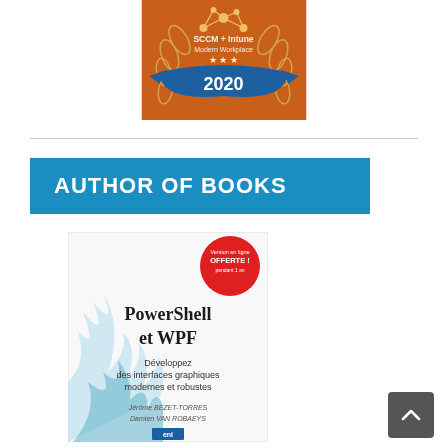[Figure (illustration): SCCM + Intune Modern Workplace 2020 award badge/medal with orange background, blue ribbon banner, wheat laurels, and connected nodes graphic]
AUTHOR OF BOOKS
[Figure (photo): Book cover: PowerShell et WPF - Développez des interfaces graphiques modernes et robustes, by Jérôme BEZET-TORRES and Damien VAN ROBAEYS, with red circle badge saying Version en ligne OFFERTE! pendant 1 an]